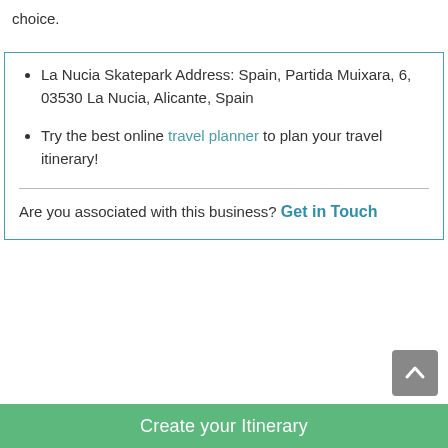choice.
La Nucia Skatepark Address: Spain, Partida Muixara, 6, 03530 La Nucia, Alicante, Spain
Try the best online travel planner to plan your travel itinerary!
Are you associated with this business? Get in Touch
Create your Itinerary